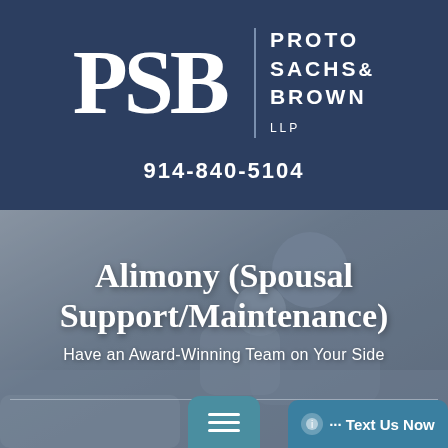[Figure (logo): PSB law firm logo with large serif PSB letters, vertical divider, and firm name PROTO SACHS & BROWN LLP on dark navy background]
914-840-5104
[Figure (photo): Background photo of parent and child with text overlay: Alimony (Spousal Support/Maintenance) — Have an Award-Winning Team on Your Side]
Alimony (Spousal Support/Maintenance)
Have an Award-Winning Team on Your Side